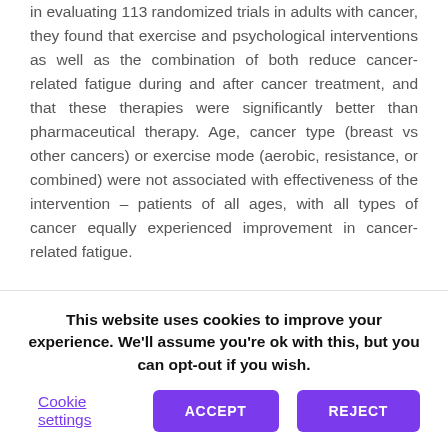in evaluating 113 randomized trials in adults with cancer, they found that exercise and psychological interventions as well as the combination of both reduce cancer-related fatigue during and after cancer treatment, and that these therapies were significantly better than pharmaceutical therapy. Age, cancer type (breast vs other cancers) or exercise mode (aerobic, resistance, or combined) were not associated with effectiveness of the intervention – patients of all ages, with all types of cancer equally experienced improvement in cancer-related fatigue.

As this was a meta-analysis, a review of multiple previously published studies, limitations include lack of detailed information on race, education level,
This website uses cookies to improve your experience. We'll assume you're ok with this, but you can opt-out if you wish. Cookie settings ACCEPT REJECT